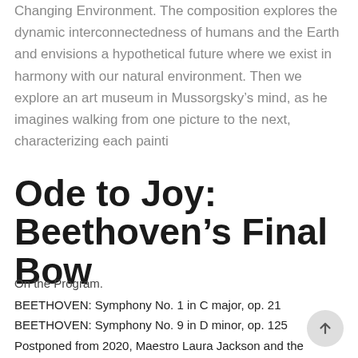Changing Environment. The composition explores the dynamic interconnectedness of humans and the Earth and envisions a hypothetical future where we exist in harmony with our natural environment. Then we explore an art museum in Mussorgsky's mind, as he imagines walking from one picture to the next, characterizing each painti
Ode to Joy: Beethoven's Final Bow
On the Program.
BEETHOVEN: Symphony No. 1 in C major, op. 21
BEETHOVEN: Symphony No. 9 in D minor, op. 125
Postponed from 2020, Maestro Laura Jackson and the